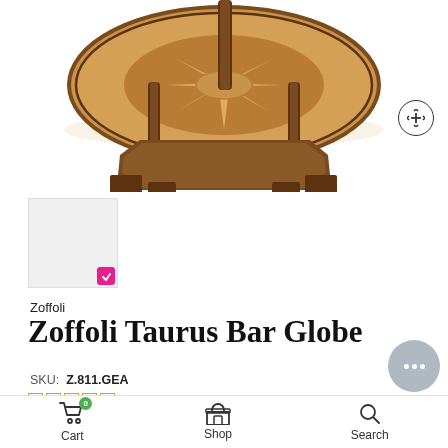[Figure (photo): Top portion of a Zoffoli Taurus Bar Globe – a round wooden table with decorative inlay top showing star/compass pattern, supported by turned wooden columns on an octagonal base with block feet. Warm walnut/mahogany tones.]
[Figure (photo): Small thumbnail image of the same bar globe product, selected (indicated by pink checkmark badge)]
Zoffoli
Zoffoli Taurus Bar Globe
SKU: Z.811.GEA
No reviews
$880.00
Cart  Shop  Search